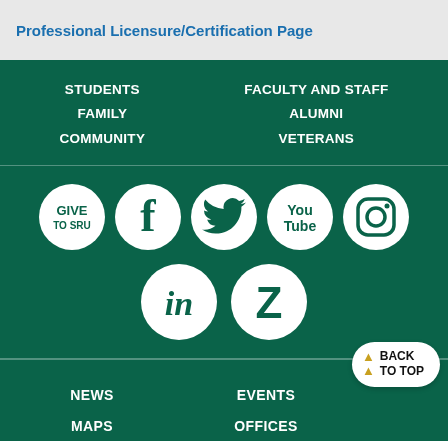Professional Licensure/Certification Page
STUDENTS
FAMILY
COMMUNITY
FACULTY AND STAFF
ALUMNI
VETERANS
[Figure (infographic): Social media icons: GIVE TO SRU, Facebook, Twitter, YouTube, Instagram, LinkedIn, Ziggi]
NEWS
MAPS
EVENTS
OFFICES
BACK TO TOP